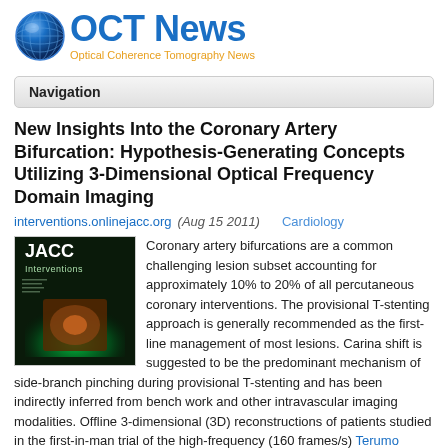[Figure (logo): OCT News logo with blue globe icon and 'OCT News' text in blue, subtitle 'Optical Coherence Tomography News' in orange]
Navigation
New Insights Into the Coronary Artery Bifurcation: Hypothesis-Generating Concepts Utilizing 3-Dimensional Optical Frequency Domain Imaging
interventions.onlinejacc.org (Aug 15 2011)   Cardiology
[Figure (photo): JACC Interventions journal cover with green and black design]
Coronary artery bifurcations are a common challenging lesion subset accounting for approximately 10% to 20% of all percutaneous coronary interventions. The provisional T-stenting approach is generally recommended as the first-line management of most lesions. Carina shift is suggested to be the predominant mechanism of side-branch pinching during provisional T-stenting and has been indirectly inferred from bench work and other intravascular imaging modalities. Offline 3-dimensional (3D) reconstructions of patients studied in the first-in-man trial of the high-frequency (160 frames/s) Terumo optical frequency domain imaging system were obtained using a proprietary software. The advantage of 3D